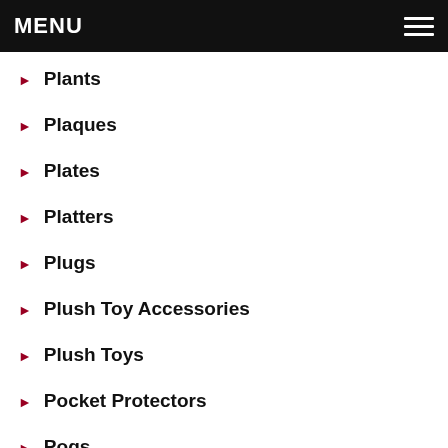MENU
Plants
Plaques
Plates
Platters
Plugs
Plush Toy Accessories
Plush Toys
Pocket Protectors
Pogs
Pointers
Poker Chips